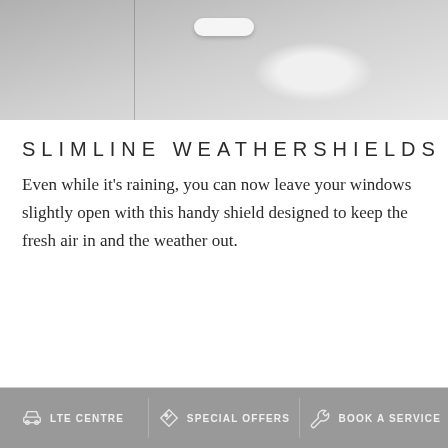[Figure (photo): Close-up of a car door panel with door handle, light gray/silver color]
SLIMLINE WEATHERSHIELDS
Even while it's raining, you can now leave your windows slightly open with this handy shield designed to keep the fresh air in and the weather out.
LTE CENTRE   SPECIAL OFFERS   BOOK A SERVICE